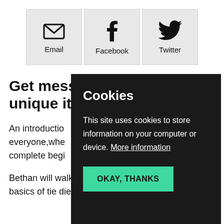[Figure (other): Three social sharing buttons side by side: Email (envelope icon), Facebook (f icon), Twitter (bird icon), each on a light grey background tile]
Get messy with unique ite
An introductio everyone,whe complete begi
Bethan will walk you through the basics of tie die
Cookies
This site uses cookies to store information on your computer or device. More information
OKAY, THANKS